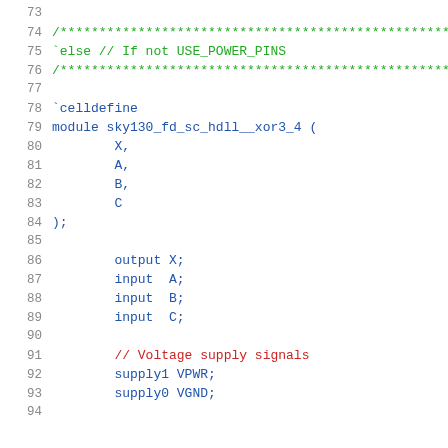Source code listing, lines 73–93, Verilog module sky130_fd_sc_hdll__xor3_4 definition
73: (blank)
74: /***...
75: `else // If not USE_POWER_PINS
76: /***...
77: (blank)
78: `celldefine
79: module sky130_fd_sc_hdll__xor3_4 (
80:     X,
81:     A,
82:     B,
83:     C
84: );
85: (blank)
86:     output X;
87:     input  A;
88:     input  B;
89:     input  C;
90: (blank)
91:     // Voltage supply signals
92:     supply1 VPWR;
93:     supply0 VGND;